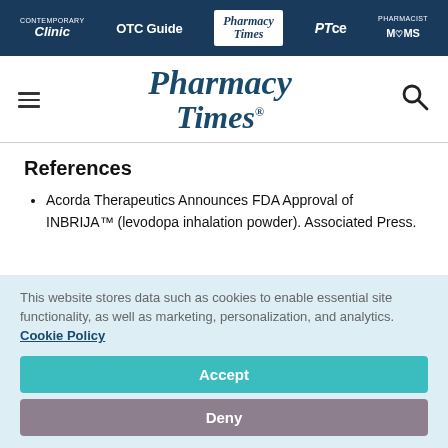Contemporary Clinic | OTC Guide | Pharmacy Times | PTce | Pharmacist MOMS
[Figure (logo): Pharmacy Times logo with hamburger menu and search icon]
References
Acorda Therapeutics Announces FDA Approval of INBRIJA™ (levodopa inhalation powder). Associated Press.
This website stores data such as cookies to enable essential site functionality, as well as marketing, personalization, and analytics. Cookie Policy
Accept
Deny